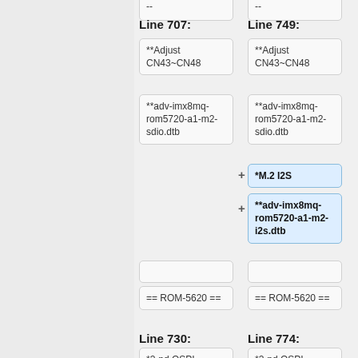--
Line 707:
Line 749:
**Adjust CN43~CN48
**Adjust CN43~CN48
**adv-imx8mq-rom5720-a1-m2-sdio.dtb
**adv-imx8mq-rom5720-a1-m2-sdio.dtb
*M.2 I2S
**adv-imx8mq-rom5720-a1-m2-i2s.dtb
== ROM-5620 ==
== ROM-5620 ==
Line 730:
Line 774:
*2-nd QSPI
*2-nd QSPI